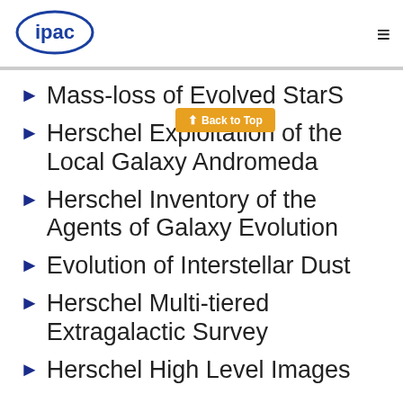ipac [logo] [hamburger menu]
Mass-loss of Evolved StarS
Herschel Exploitation of the Local Galaxy Andromeda
Herschel Inventory of the Agents of Galaxy Evolution
Evolution of Interstellar Dust
Herschel Multi-tiered Extragalactic Survey
Herschel High Level Images